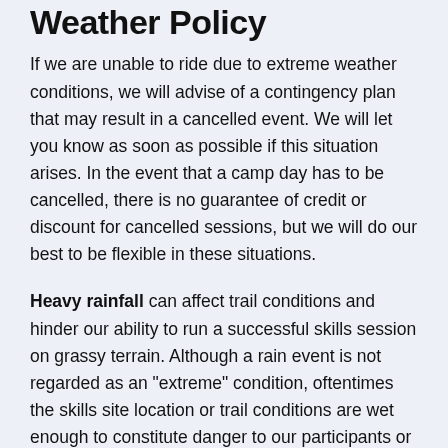Weather Policy
If we are unable to ride due to extreme weather conditions, we will advise of a contingency plan that may result in a cancelled event. We will let you know as soon as possible if this situation arises. In the event that a camp day has to be cancelled, there is no guarantee of credit or discount for cancelled sessions, but we will do our best to be flexible in these situations.
Heavy rainfall can affect trail conditions and hinder our ability to run a successful skills session on grassy terrain. Although a rain event is not regarded as an "extreme" condition, oftentimes the skills site location or trail conditions are wet enough to constitute danger to our participants or coaches, or to the terrain we are renting, so we may need to make changes or